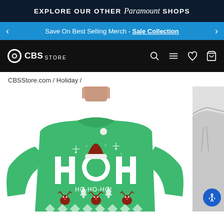EXPLORE OUR OTHER Paramount SHOPS
Save On Best Selling Merch - Sale Collection
[Figure (logo): CBS Store logo with CBS eye logo and navigation icons (search, menu, heart, bag)]
CBSStore.com / Holiday /
[Figure (photo): Man wearing a green Christmas/holiday ugly sweater with HOH HO-HO-HO text and Santa hat, reindeer and snowflakes pattern, with partial view of second product image on right side]